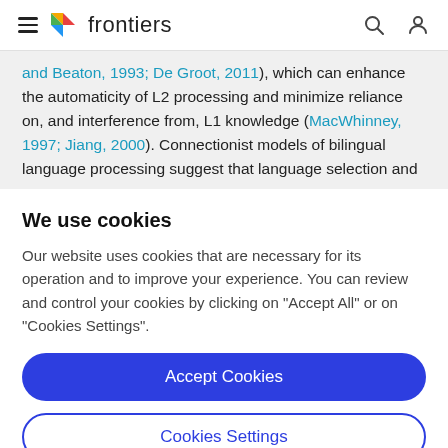frontiers
and Beaton, 1993; De Groot, 2011), which can enhance the automaticity of L2 processing and minimize reliance on, and interference from, L1 knowledge (MacWhinney, 1997; Jiang, 2000). Connectionist models of bilingual language processing suggest that language selection and
We use cookies
Our website uses cookies that are necessary for its operation and to improve your experience. You can review and control your cookies by clicking on "Accept All" or on "Cookies Settings".
Accept Cookies
Cookies Settings